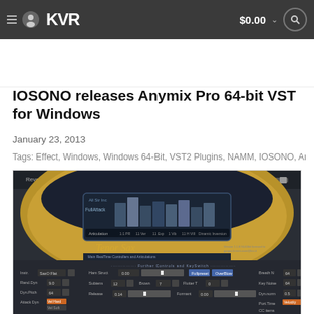KVR  $0.00
IOSONO releases Anymix Pro 64-bit VST for Windows
January 23, 2013
Tags: Effect, Windows, Windows 64-Bit, VST2 Plugins, NAMM, IOSONO, An...
[Figure (screenshot): Screenshot of the Anymix Pro / Tenor Sax VST plugin interface showing engine controls, articulation panel, and realtime controllers section with sliders and parameter displays.]